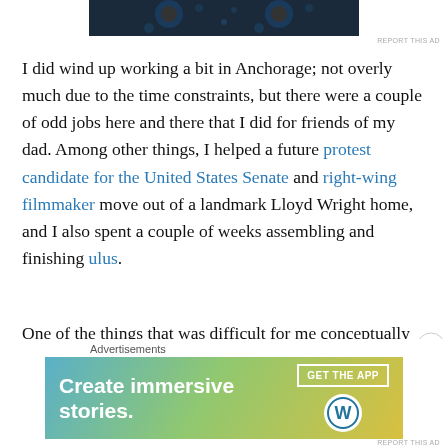[Figure (screenshot): Top advertisement banner with dark blue/teal background, partially visible]
REPORT THIS AD
I did wind up working a bit in Anchorage; not overly much due to the time constraints, but there were a couple of odd jobs here and there that I did for friends of my dad. Among other things, I helped a future protest candidate for the United States Senate and right-wing filmmaker move out of a landmark Lloyd Wright home, and I also spent a couple of weeks assembling and finishing ulus.
One of the things that was difficult for me conceptually about preparing to go to college was that nobody seemed to actually have a clear idea in their head why I was going, or how to relate it to anything I was interested in doing, or
Advertisements
[Figure (screenshot): WordPress advertisement banner: 'Create immersive stories.' with GET THE APP button and WordPress logo]